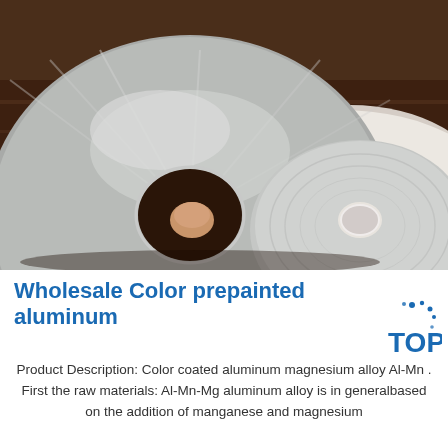[Figure (photo): Two shiny aluminum disc/coil rolls with holes in the center, placed on a white surface over a dark brown wooden background. The discs appear to be prepainted aluminum material in silver/metallic finish.]
Wholesale Color prepainted aluminum
[Figure (logo): TOP logo with blue dots arranged around the letters TOP in blue]
Product Description: Color coated aluminum magnesium alloy Al-Mn . First the raw materials: Al-Mn-Mg aluminum alloy is in generalbased on the addition of manganese and magnesium